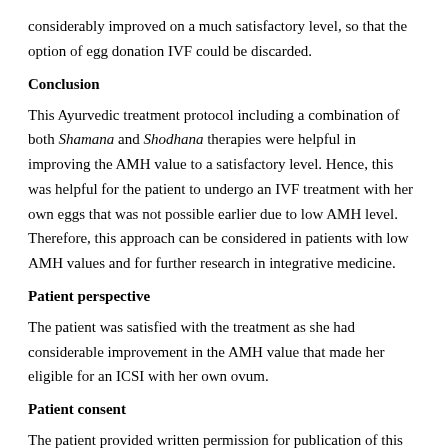considerably improved on a much satisfactory level, so that the option of egg donation IVF could be discarded.
Conclusion
This Ayurvedic treatment protocol including a combination of both Shamana and Shodhana therapies were helpful in improving the AMH value to a satisfactory level. Hence, this was helpful for the patient to undergo an IVF treatment with her own eggs that was not possible earlier due to low AMH level. Therefore, this approach can be considered in patients with low AMH values and for further research in integrative medicine.
Patient perspective
The patient was satisfied with the treatment as she had considerable improvement in the AMH value that made her eligible for an ICSI with her own ovum.
Patient consent
The patient provided written permission for publication of this case report.
Declaration of patient consent